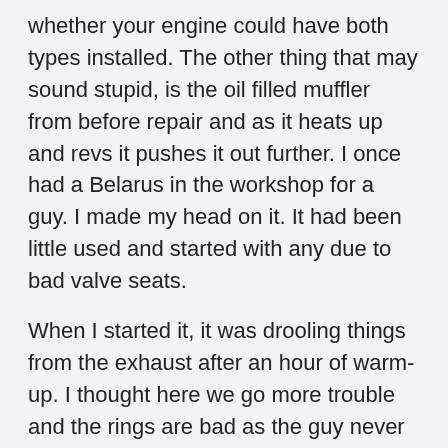whether your engine could have both types installed. The other thing that may sound stupid, is the oil filled muffler from before repair and as it heats up and revs it pushes it out further. I once had a Belarus in the workshop for a guy. I made my head on it. It had been little used and started with any due to bad valve seats.
When I started it, it was drooling things from the exhaust after an hour of warm-up. I thought here we go more trouble and the rings are bad as the guy never wanted the pistons removed or anything else checked. I got to thinking and removed the silencer. It was full of a sticky substance that was also on the head when you removed it.so I took a